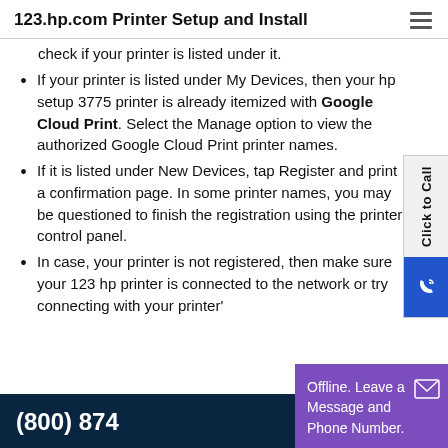123.hp.com Printer Setup and Install
check if your printer is listed under it.
If your printer is listed under My Devices, then your hp setup 3775 printer is already itemized with Google Cloud Print. Select the Manage option to view the authorized Google Cloud Print printer names.
If it is listed under New Devices, tap Register and print a confirmation page. In some printer names, you may be questioned to finish the registration using the printer control panel.
In case, your printer is not registered, then make sure your 123 hp printer is connected to the network or try connecting with your printer's...
(800) 874...
Offline. Leave a Message and Phone Number.